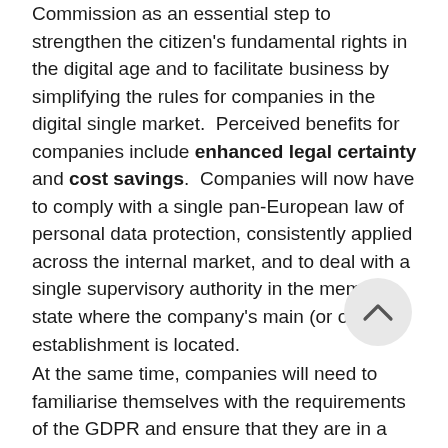Commission as an essential step to strengthen the citizen's fundamental rights in the digital age and to facilitate business by simplifying the rules for companies in the digital single market. Perceived benefits for companies include enhanced legal certainty and cost savings. Companies will now have to comply with a single pan-European law of personal data protection, consistently applied across the internal market, and to deal with a single supervisory authority in the member state where the company's main (or only) establishment is located.
At the same time, companies will need to familiarise themselves with the requirements of the GDPR and ensure that they are in a position to comply by 25 May 2018. Although the GDPR is based on the same basic data